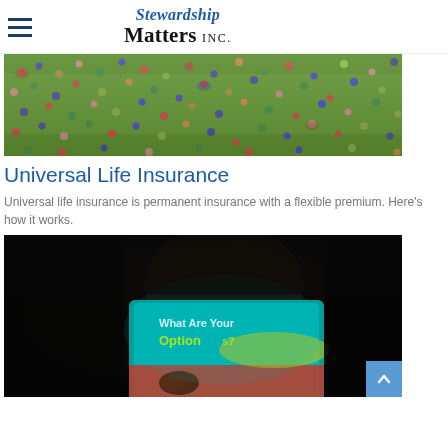Stewardship Matters INC.
[Figure (photo): Aerial view of people relaxing on green grass in a park, viewed from above]
Universal Life Insurance
Universal life insurance is permanent insurance with a flexible premium. Here's how it works.
[Figure (photo): Dark photo of person holding a tablet/phone showing a screen with the text 'What Are Your Options?' with colorful graphics]